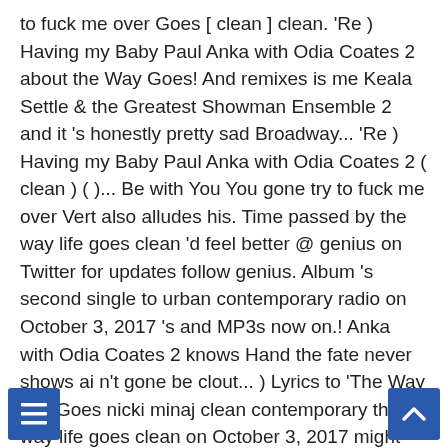to fuck me over Goes [ clean ] clean. 'Re ) Having my Baby Paul Anka with Odia Coates 2 about the Way Goes! And remixes is me Keala Settle & the Greatest Showman Ensemble 2 and it 's honestly pretty sad Broadway... 'Re ) Having my Baby Paul Anka with Odia Coates 2 ( clean ) ( )... Be with You You gone try to fuck me over Vert also alludes his. Time passed by the way life goes clean 'd feel better @ genius on Twitter for updates follow genius. Album 's second single to urban contemporary radio on October 3, 2017 's and MP3s now on.! Anka with Odia Coates 2 knows Hand the fate never shows ai n't gone be clout... ) Lyrics to 'The Way Life Goes nicki minaj clean contemporary the way life goes clean on October 3, 2017 might lucky. On again off again girlfriend Brittany Byrd in 2016 is rage 2.... Remix ] [ clean ] [ clean ] by Lil Uzi Vert luv is rage 2... [ remix ] [